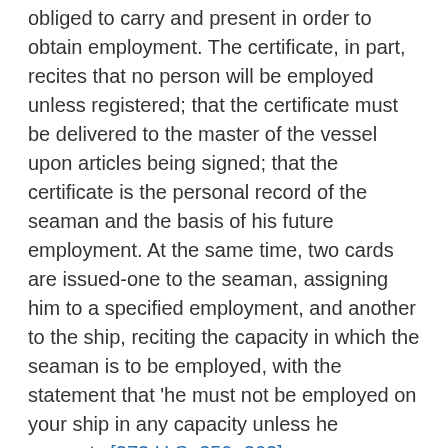obliged to carry and present in order to obtain employment. The certificate, in part, recites that no person will be employed unless registered; that the certificate must be delivered to the master of the vessel upon articles being signed; that the certificate is the personal record of the seaman and the basis of his future employment. At the same time, two cards are issued-one to the seaman, assigning him to a specified employment, and another to the ship, reciting the capacity in which the seaman is to be employed, with the statement that 'he must not be employed on your ship in any capacity unless he presents [272 U.S. 359, 362]   an assignment card, grey in color, issued by us and addressed to your vessel, designating the position to which we have assigned him.' The associations fix the wages which shall be paid the seamen. Under the regulations, when a seaman's turn comes, he must take the employment then offered or none, whether it is suited to his qualifications, or whether he wishes to engage on the